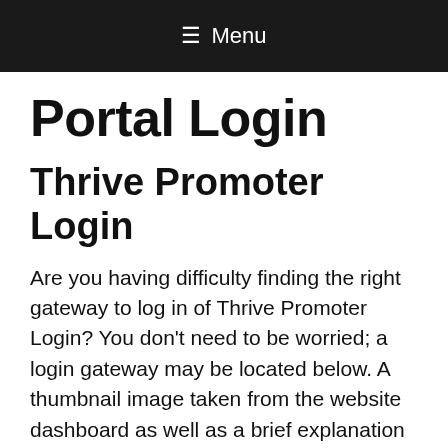≡ Menu
Portal Login
Thrive Promoter Login
Are you having difficulty finding the right gateway to log in of Thrive Promoter Login? You don't need to be worried; a login gateway may be located below. A thumbnail image taken from the website dashboard as well as a brief explanation and links to the login